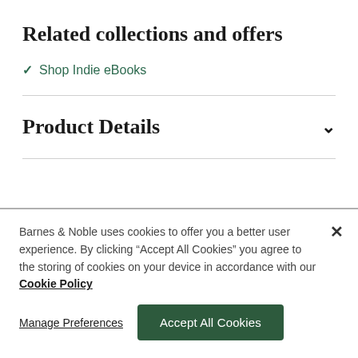Related collections and offers
✓ Shop Indie eBooks
Product Details
Barnes & Noble uses cookies to offer you a better user experience. By clicking "Accept All Cookies" you agree to the storing of cookies on your device in accordance with our Cookie Policy
Manage Preferences    Accept All Cookies